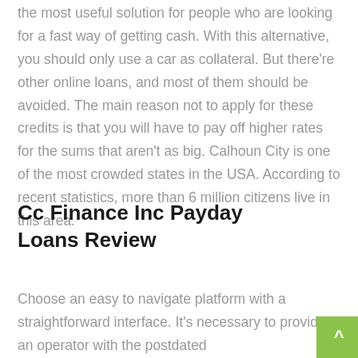the most useful solution for people who are looking for a fast way of getting cash. With this alternative, you should only use a car as collateral. But there're other online loans, and most of them should be avoided. The main reason not to apply for these credits is that you will have to pay off higher rates for the sums that aren't as big. Calhoun City is one of the most crowded states in the USA. According to recent statistics, more than 6 million citizens live in this area.
Cc Finance Inc Payday Loans Review
Choose an easy to navigate platform with a straightforward interface. It's necessary to provide an operator with the postdated